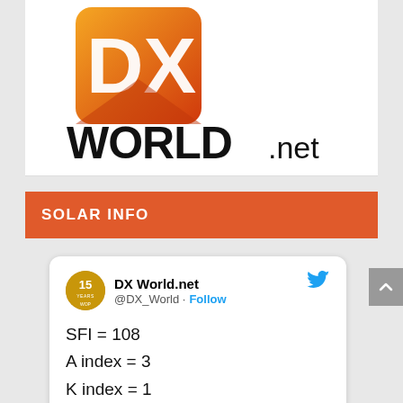[Figure (logo): DX World.net logo — orange/red gradient DX letters over white background with WORLD.net text in black below]
SOLAR INFO
[Figure (screenshot): Tweet card from @DX_World (DX World.net) showing solar info: SFI = 108, A index = 3, K index = 1]
SFI = 108
A index = 3
K index = 1